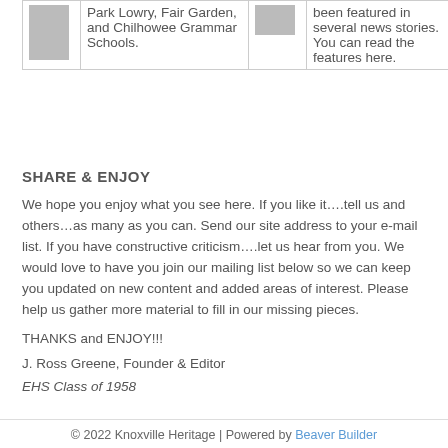| [image] | Park Lowry, Fair Garden, and Chilhowee Grammar Schools. | [image] | been featured in several news stories. You can read the features here. |
SHARE & ENJOY
We hope you enjoy what you see here. If you like it….tell us and others…as many as you can. Send our site address to your e-mail list. If you have constructive criticism….let us hear from you. We would love to have you join our mailing list below so we can keep you updated on new content and added areas of interest. Please help us gather more material to fill in our missing pieces.
THANKS and ENJOY!!!
J. Ross Greene, Founder & Editor
EHS Class of 1958
© 2022 Knoxville Heritage | Powered by Beaver Builder